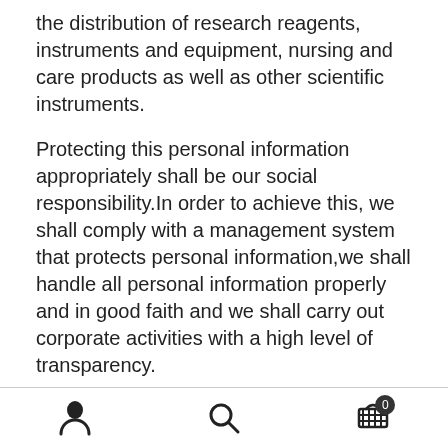the distribution of research reagents, instruments and equipment, nursing and care products as well as other scientific instruments.
Protecting this personal information appropriately shall be our social responsibility.In order to achieve this, we shall comply with a management system that protects personal information,we shall handle all personal information properly and in good faith and we shall carry out corporate activities with a high level of transparency.
We shall appropriately obtain, use and provide the personal information of customers, business partners, board members and employees taking into
[user icon] [search icon] [cart icon with badge 0]